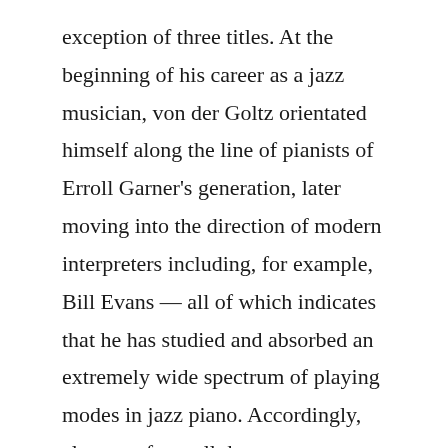exception of three titles. At the beginning of his career as a jazz musician, von der Goltz orientated himself along the line of pianists of Erroll Garner's generation, later moving into the direction of modern interpreters including, for example, Bill Evans — all of which indicates that he has studied and absorbed an extremely wide spectrum of playing modes in jazz piano. Accordingly, elements from all these sources surface in his piano style. One of his specialties is the rediscovery of seldom played jazz standards, which he lends a thoroughly unique touch through his modern-orientated mode of interpretation, which still, however, always lets points of reference to tradition shine through. Von der Goltz's unique quality expresses itself in his compositions, too; they attest to a full-grown maturity in